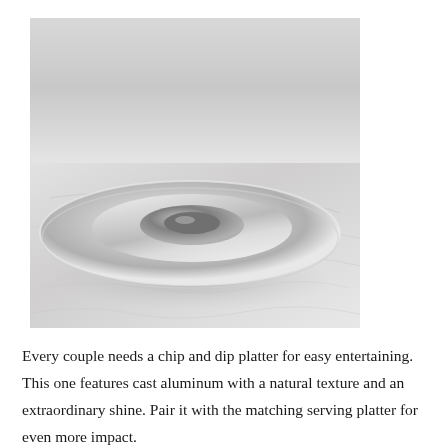[Figure (photo): A shiny cast aluminum chip and dip platter photographed on a marble surface against a light gray background. The platter is round with a raised center bowl for dip, with a broad rim for chips, reflecting a polished metallic finish.]
Every couple needs a chip and dip platter for easy entertaining. This one features cast aluminum with a natural texture and an extraordinary shine. Pair it with the matching serving platter for even more impact.